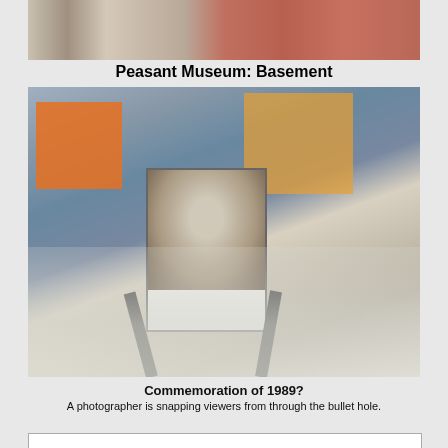[Figure (photo): Partial view of what appears to be a museum basement floor — marble/tile flooring visible, upper portion cropped]
Peasant Museum: Basement
[Figure (photo): Winter street scene with advertising billboards and display stands. In the center foreground, a large black-and-white portrait photograph of a young man in a suit (resembling Nicolae Ceaușescu) is mounted on a tripod stand. People walk in the background. Snow covers the ground. City buildings and overhead wires visible. Bullet hole visible in the portrait.]
Commemoration of 1989?
A photographer is snapping viewers from through the bullet hole.